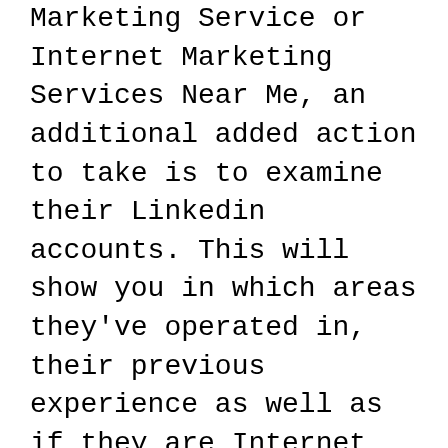Marketing Service or Internet Marketing Services Near Me, an additional added action to take is to examine their Linkedin accounts. This will show you in which areas they've operated in, their previous experience as well as if they are Internet Marketing Companies or Digital Marketing Companies in the location, they are claiming to be. Occasionally a person can brand name himself as a Digital Marketing Consultant Near Me expert or Digital Marketing Company Near Me specialist, yet they are simply beginning, as well as they think that this will certainly obtain them a lot more clients. A detailed testimonial of